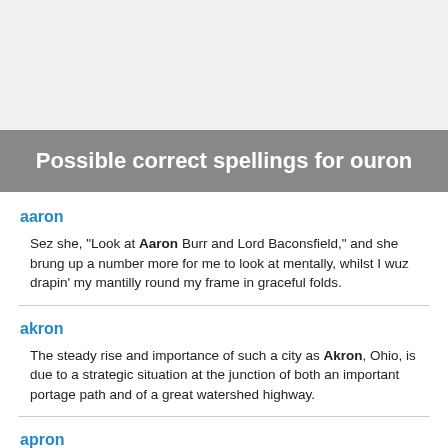Possible correct spellings for ouron
aaron
Sez she, "Look at Aaron Burr and Lord Baconsfield," and she brung up a number more for me to look at mentally, whilst I wuz drapin' my mantilly round my frame in graceful folds.
akron
The steady rise and importance of such a city as Akron, Ohio, is due to a strategic situation at the junction of both an important portage path and of a great watershed highway.
apron
Mary," she suddenly spoke aloud, addressing the Patient